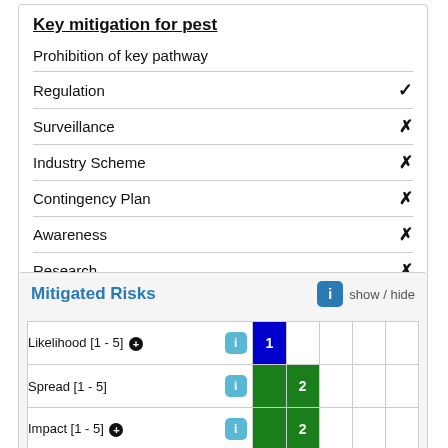Key mitigation for pest
Prohibition of key pathway
Regulation ✓
Surveillance ✗
Industry Scheme ✗
Contingency Plan ✗
Awareness ✗
Research ✗
Mitigated Risks
|  | i | col1 | col2 | col3 | col4 | col5 |
| --- | --- | --- | --- | --- | --- | --- |
| Likelihood [1 - 5] ⊕ | i | 1 |  |  |  |  |
| Spread [1 - 5] | i |  | 2 |  |  |  |
| Impact [1 - 5] ⊕ | i |  | 2 |  |  |  |
| Value at Risk [1 - 5] | i |  |  |  |  | 5 |